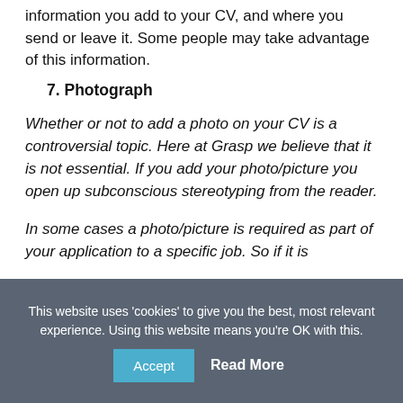information you add to your CV, and where you send or leave it. Some people may take advantage of this information.
7. Photograph
Whether or not to add a photo on your CV is a controversial topic. Here at Grasp we believe that it is not essential. If you add your photo/picture you open up subconscious stereotyping from the reader.
In some cases a photo/picture is required as part of your application to a specific job. So if it is
This website uses 'cookies' to give you the best, most relevant experience. Using this website means you're OK with this. Accept Read More